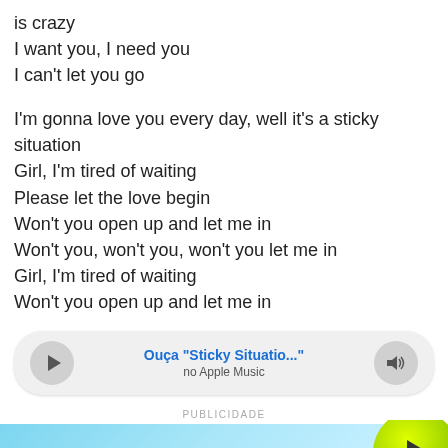is crazy
I want you, I need you
I can't let you go

I'm gonna love you every day, well it's a sticky situation
Girl, I'm tired of waiting
Please let the love begin
Won't you open up and let me in
Won't you, won't you, won't you let me in
Girl, I'm tired of waiting
Won't you open up and let me in
[Figure (screenshot): Audio player widget with play button, track title 'Ouça "Sticky Situatio..."', 'no Apple Music' subtitle, and speaker/volume button]
PUBLICIDADE
[Figure (screenshot): Advertisement banner with blue gradient background and text 'O podcast que informa, descomplica e', with a green circular play button on the right]